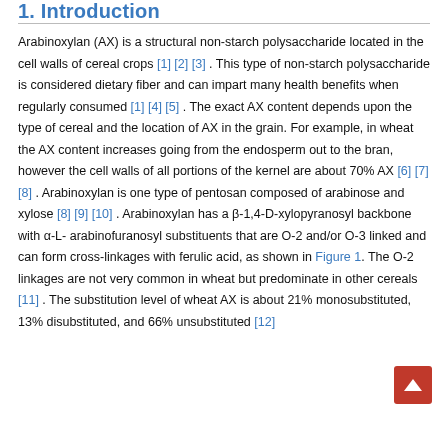1. Introduction
Arabinoxylan (AX) is a structural non-starch polysaccharide located in the cell walls of cereal crops [1] [2] [3] . This type of non-starch polysaccharide is considered dietary fiber and can impart many health benefits when regularly consumed [1] [4] [5] . The exact AX content depends upon the type of cereal and the location of AX in the grain. For example, in wheat the AX content increases going from the endosperm out to the bran, however the cell walls of all portions of the kernel are about 70% AX [6] [7] [8] . Arabinoxylan is one type of pentosan composed of arabinose and xylose [8] [9] [10] . Arabinoxylan has a β-1,4-D-xylopyranosyl backbone with α-L-arabinofuranosyl substituents that are O-2 and/or O-3 linked and can form cross-linkages with ferulic acid, as shown in Figure 1. The O-2 linkages are not very common in wheat but predominate in other cereals [11] . The substitution level of wheat AX is about 21% monosubstituted, 13% disubstituted, and 66% unsubstituted [12]